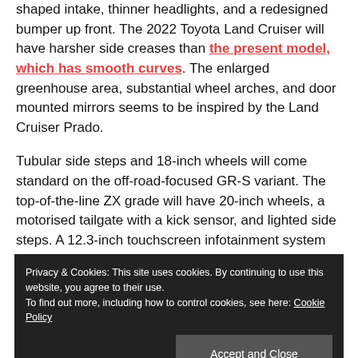shaped intake, thinner headlights, and a redesigned bumper up front. The 2022 Toyota Land Cruiser will have harsher side creases than the present model, which has smooth curves. The enlarged greenhouse area, substantial wheel arches, and door mounted mirrors seems to be inspired by the Land Cruiser Prado.
Tubular side steps and 18-inch wheels will come standard on the off-road-focused GR-S variant. The top-of-the-line ZX grade will have 20-inch wheels, a motorised tailgate with a kick sensor, and lighted side steps. A 12.3-inch touchscreen infotainment system with smartphone connectivity, a 3D multi-terrain monitor, heads-up display, premium leather upholstery, four-zone climate control,
Privacy & Cookies: This site uses cookies. By continuing to use this website, you agree to their use. To find out more, including how to control cookies, see here: Cookie Policy
Accept and Close
Share this: